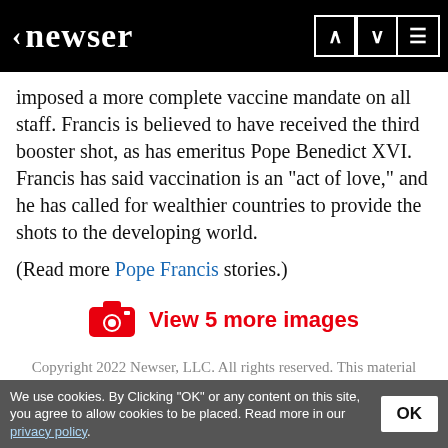< newser
imposed a more complete vaccine mandate on all staff. Francis is believed to have received the third booster shot, as has emeritus Pope Benedict XVI. Francis has said vaccination is an "act of love," and he has called for wealthier countries to provide the shots to the developing world.
(Read more Pope Francis stories.)
[Figure (infographic): Camera icon with text 'View 5 more images' in red]
Copyright 2022 Newser, LLC. All rights reserved. This material may not be published, broadcast, rewritten, or redistributed. AP contributed to this report.
34 comments
We use cookies. By Clicking "OK" or any content on this site, you agree to allow cookies to be placed. Read more in our privacy policy.